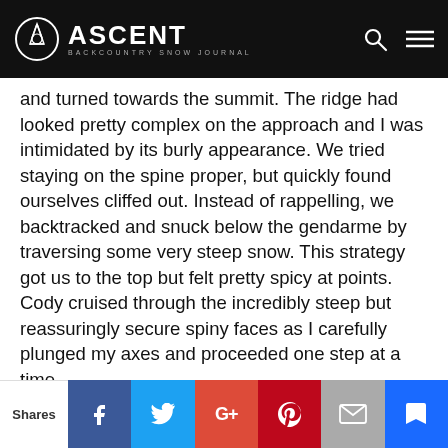ASCENT BACKCOUNTRY SNOW JOURNAL
and turned towards the summit. The ridge had looked pretty complex on the approach and I was intimidated by its burly appearance. We tried staying on the spine proper, but quickly found ourselves cliffed out. Instead of rappelling, we backtracked and snuck below the gendarme by traversing some very steep snow. This strategy got us to the top but felt pretty spicy at points. Cody cruised through the incredibly steep but reassuringly secure spiny faces as I carefully plunged my axes and proceeded one step at a time.

About halfway up, we were forced onto the rock and I roped up to lead a quick pitch of easy mixed climbing. The remainder of the ridge looked straightforward by the day's standards and we
Shares | Facebook | Twitter | Google+ | Pinterest | Email | Bookmark